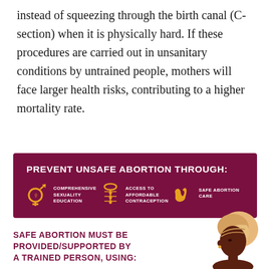instead of squeezing through the birth canal (C-section) when it is physically hard. If these procedures are carried out in unsanitary conditions by untrained people, mothers will face larger health risks, contributing to a higher mortality rate.
[Figure (infographic): Dark maroon infographic box titled 'PREVENT UNSAFE ABORTION THROUGH:' with three icon-label groups: a gender symbol icon with 'COMPREHENSIVE SEXUALITY EDUCATION', an IUD/contraception icon with 'ACCESS TO AFFORDABLE CONTRACEPTION', and a hand-with-heart icon with 'SAFE ABORTION CARE'.]
SAFE ABORTION MUST BE PROVIDED/SUPPORTED BY A TRAINED PERSON, USING:
[Figure (illustration): Illustration of a woman's profile/silhouette in dark brown skin tone with a golden/tan head wrap, visible from the shoulders up, positioned at the bottom right of the page.]